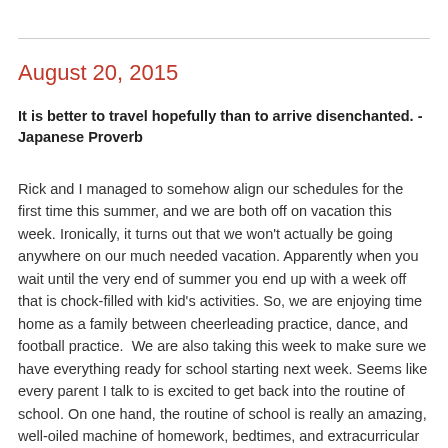August 20, 2015
It is better to travel hopefully than to arrive disenchanted. - Japanese Proverb
Rick and I managed to somehow align our schedules for the first time this summer, and we are both off on vacation this week. Ironically, it turns out that we won't actually be going anywhere on our much needed vacation. Apparently when you wait until the very end of summer you end up with a week off that is chock-filled with kid's activities. So, we are enjoying time home as a family between cheerleading practice, dance, and football practice.  We are also taking this week to make sure we have everything ready for school starting next week. Seems like every parent I talk to is excited to get back into the routine of school. On one hand, the routine of school is really an amazing, well-oiled machine of homework, bedtimes, and extracurricular activities at least at the start of the school year. On the other hand, it is going through the motions trying to make it look good at the end of the year.